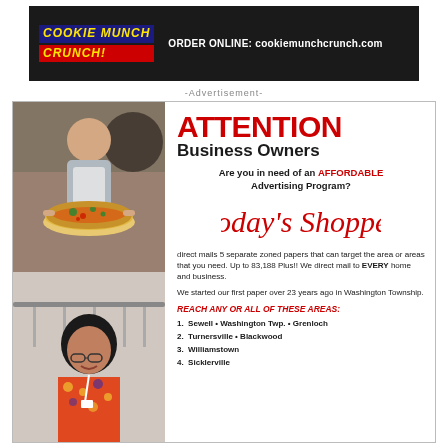[Figure (logo): Cookie Munch Crunch banner ad with yellow/red logo text on dark background and order online URL: cookiemunchcrunch.com]
-Advertisement-
[Figure (photo): Advertisement for Today's Shopper with photos of a pizza restaurant owner and a businesswoman on the left side.]
ATTENTION Business Owners
Are you in need of an AFFORDABLE Advertising Program?
[Figure (logo): Today's Shopper cursive logo]
direct mails 5 separate zoned papers that can target the area or areas that you need. Up to 83,188 Plus!! We direct mail to EVERY home and business.
We started our first paper over 23 years ago in Washington Township.
REACH ANY OR ALL OF THESE AREAS:
1.  Sewell • Washington Twp. • Grenloch
2.  Turnersville • Blackwood
3.  Williamstown
4.  Sicklerville